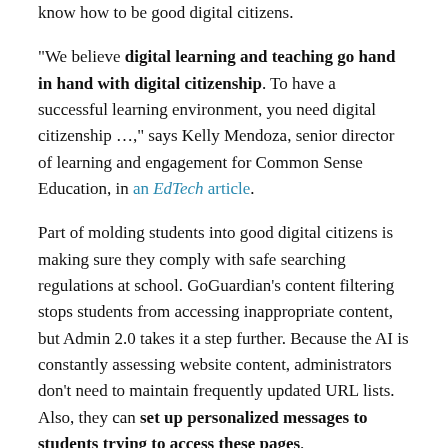know how to be good digital citizens.
"We believe digital learning and teaching go hand in hand with digital citizenship. To have a successful learning environment, you need digital citizenship …," says Kelly Mendoza, senior director of learning and engagement for Common Sense Education, in an EdTech article.
Part of molding students into good digital citizens is making sure they comply with safe searching regulations at school. GoGuardian's content filtering stops students from accessing inappropriate content, but Admin 2.0 takes it a step further. Because the AI is constantly assessing website content, administrators don't need to maintain frequently updated URL lists. Also, they can set up personalized messages to students trying to access these pages.
Recent research indicates that a personalized approach to discipline works the best, and Shaddix says Admin 2.0 is